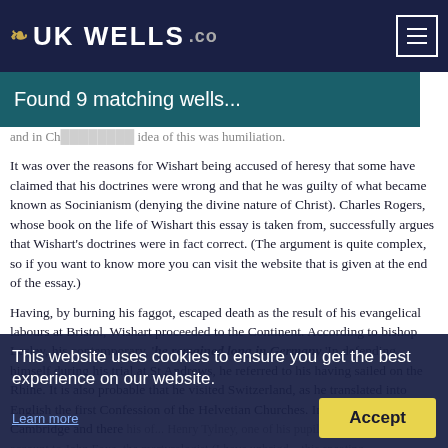UK WELLS
Found 9 matching wells...
and in Ch... idea of this was humiliation.
It was over the reasons for Wishart being accused of heresy that some have claimed that his doctrines were wrong and that he was guilty of what became known as Socinianism (denying the divine nature of Christ). Charles Rogers, whose book on the life of Wishart this essay is taken from, successfully argues that Wishart's doctrines were in fact correct. (The argument is quite complex, so if you want to know more you can visit the website that is given at the end of the essay.)
Having, by burning his faggot, escaped death as the result of his evangelical labours at Bristol, Wishart proceeded to the Continent. According to bishop Lesley, his contemporary, 'he remained long in Germany.'In defending himself during his trial at St Andrews, he referred to his having sailed on the Rhine. It is also probable that he visited Switzerland, as he translated into English the first Confession of the Helvetian Churches. In 1542 he returned to Cambridge and there his of... Henry Tylney, one of his pupils, gave the following account to John Foxe, the martyrologist (I have unbrigd... this speating.
About the year of our Lord, a thousand, five hundred, forty and three, I was... the university of Cambridge one Master George Wishart, commonly called Master George of Bennets College, who was a man of tall stature, aside headed, and on the ove a Frensh cow with the cut...
This website uses cookies to ensure you get the best experience on our website.
Learn more
Accept